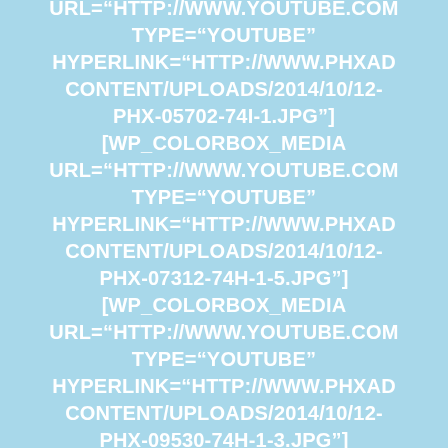URL="HTTP://WWW.YOUTUBE.COM TYPE="YOUTUBE" HYPERLINK="HTTP://WWW.PHXAD CONTENT/UPLOADS/2014/10/12-PHX-05702-74I-1.JPG"] [WP_COLORBOX_MEDIA URL="HTTP://WWW.YOUTUBE.COM TYPE="YOUTUBE" HYPERLINK="HTTP://WWW.PHXAD CONTENT/UPLOADS/2014/10/12-PHX-07312-74H-1-5.JPG"] [WP_COLORBOX_MEDIA URL="HTTP://WWW.YOUTUBE.COM TYPE="YOUTUBE" HYPERLINK="HTTP://WWW.PHXAD CONTENT/UPLOADS/2014/10/12-PHX-09530-74H-1-3.JPG"]